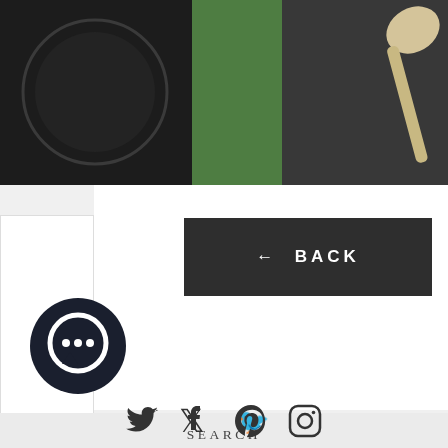[Figure (photo): Top portion showing a dark background with a circular shape on the left, a green vertical strip in the middle, and a wooden spoon on a dark slate surface on the right.]
WEEKLY UPDATE
← BACK
SEARCH
TERMS OF SERVICE
REFUND POLICY
BLOG
FAQ
CONTACT
[Figure (illustration): Chat bubble / messenger circle icon in dark navy/black]
[Figure (illustration): Social media icons: Twitter, Facebook, Pinterest, Instagram]